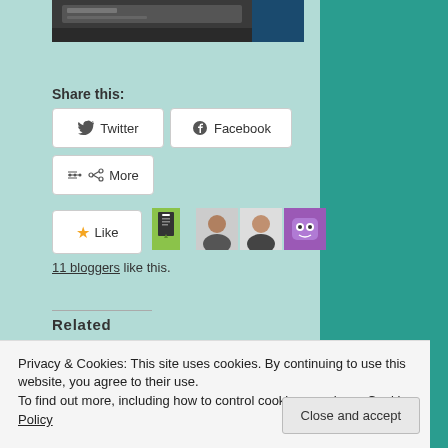[Figure (photo): Partial photo of dark electronic device at top of page]
Share this:
[Figure (screenshot): Twitter share button]
[Figure (screenshot): Facebook share button]
[Figure (screenshot): More share button]
[Figure (screenshot): Like button with star icon and blogger avatars]
11 bloggers like this.
Related
[Figure (photo): Related article image 1 - blue container]
[Figure (photo): Related article image 2 - blue container]
Privacy & Cookies: This site uses cookies. By continuing to use this website, you agree to their use. To find out more, including how to control cookies, see here: Cookie Policy
Close and accept